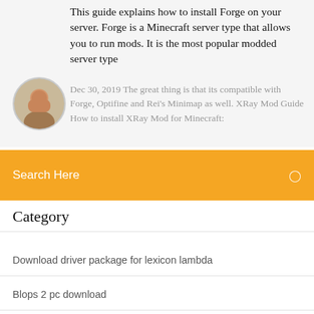This guide explains how to install Forge on your server. Forge is a Minecraft server type that allows you to run mods. It is the most popular modded server type
[Figure (photo): Circular avatar photo of a man]
Dec 30, 2019 The great thing is that its compatible with Forge, Optifine and Rei's Minimap as well. XRay Mod Guide How to install XRay Mod for Minecraft:
Search Here
Category
Download driver package for lexicon lambda
Blops 2 pc download
Troll golf app download